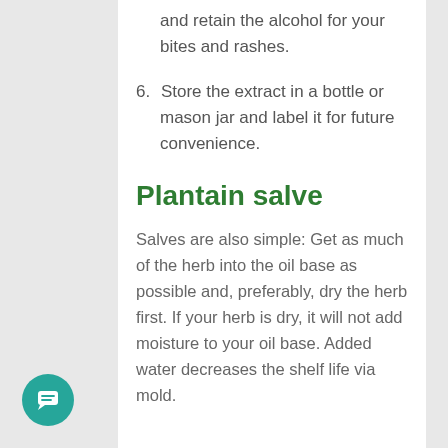and retain the alcohol for your bites and rashes.
6. Store the extract in a bottle or mason jar and label it for future convenience.
Plantain salve
Salves are also simple: Get as much of the herb into the oil base as possible and, preferably, dry the herb first. If your herb is dry, it will not add moisture to your oil base. Added water decreases the shelf life via mold.